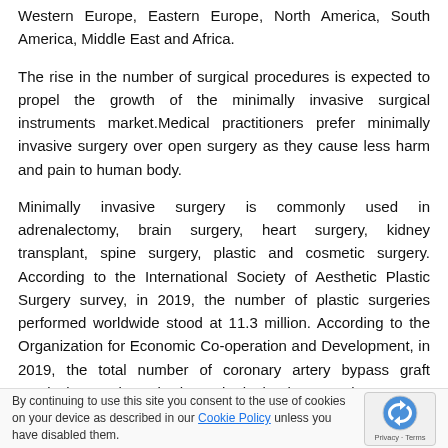Western Europe, Eastern Europe, North America, South America, Middle East and Africa.
The rise in the number of surgical procedures is expected to propel the growth of the minimally invasive surgical instruments market.Medical practitioners prefer minimally invasive surgery over open surgery as they cause less harm and pain to human body.
Minimally invasive surgery is commonly used in adrenalectomy, brain surgery, heart surgery, kidney transplant, spine surgery, plastic and cosmetic surgery. According to the International Society of Aesthetic Plastic Surgery survey, in 2019, the number of plastic surgeries performed worldwide stood at 11.3 million. According to the Organization for Economic Co-operation and Development, in 2019, the total number of coronary artery bypass graft surgical procedures in the United Kingdom stood at 14,848, and 45,398 in Germany. Therefore, the increase in the number of surgical procedures is driving the growth of the minimally invasive surgical instruments ma...
By continuing to use this site you consent to the use of cookies on your device as described in our Cookie Policy unless you have disabled them.